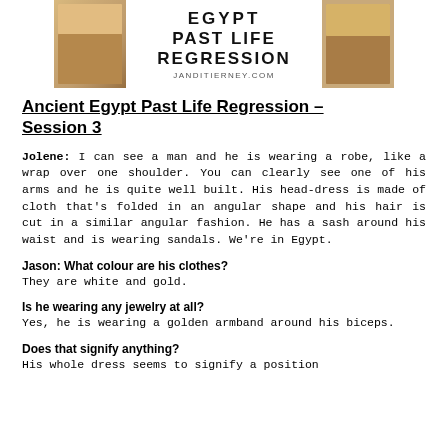[Figure (illustration): Banner image for 'Egypt Past Life Regression' with text 'EGYPT PAST LIFE REGRESSION' and 'JANDITIERNEY.COM', flanked by two photographic panels showing sandy/textured backgrounds.]
Ancient Egypt Past Life Regression - Session 3
Jolene: I can see a man and he is wearing a robe, like a wrap over one shoulder. You can clearly see one of his arms and he is quite well built. His head-dress is made of cloth that's folded in an angular shape and his hair is cut in a similar angular fashion. He has a sash around his waist and is wearing sandals. We're in Egypt.
Jason: What colour are his clothes?
They are white and gold.
Is he wearing any jewelry at all?
Yes, he is wearing a golden armband around his biceps.
Does that signify anything?
His whole dress seems to signify a position